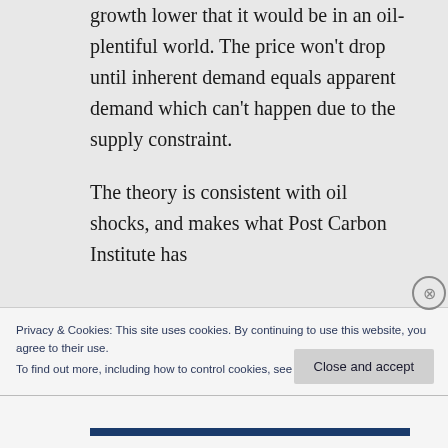constraint is pushing GDP growth lower that it would be in an oil-plentiful world. The price won't drop until inherent demand equals apparent demand which can't happen due to the supply constraint.

The theory is consistent with oil shocks, and makes what Post Carbon Institute has
Privacy & Cookies: This site uses cookies. By continuing to use this website, you agree to their use.
To find out more, including how to control cookies, see here: Cookie Policy
Close and accept